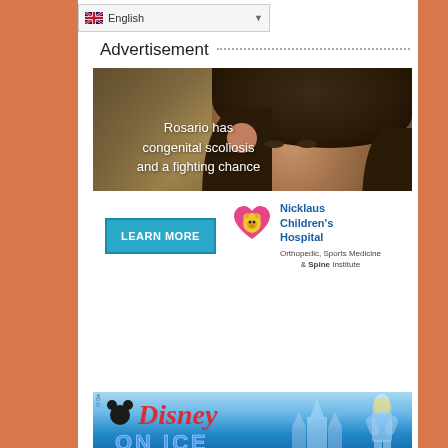[Figure (screenshot): Language selector dropdown showing English with flag icon and dropdown arrow]
Advertisement
[Figure (photo): Advertisement photo of a young girl with curly hair smiling. Text overlay reads: 'Rosario has congenital scoliosis and a fighting chance'. Nicklaus Children's Hospital ad with LEARN MORE button and Orthopedic, Sports Medicine & Spine Institute branding.]
[Figure (photo): Disney On Ice advertisement banner with Disney logo in red script, icy castle and Elsa character visible, blue winter theme.]